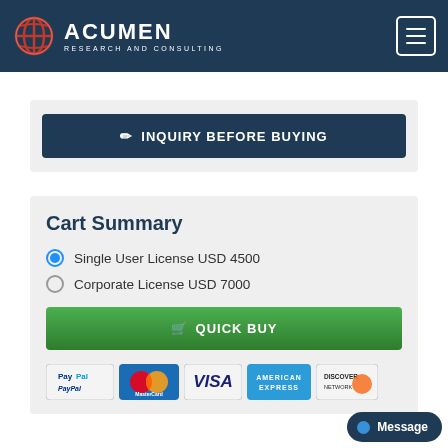Acumen Research and Consulting
INQUIRY BEFORE BUYING
Cart Summary
Single User License USD 4500
Corporate License USD 7000
QUICK BUY
[Figure (other): Payment method icons: PayPal, MasterCard, Visa, American Express, Discover Network]
Message